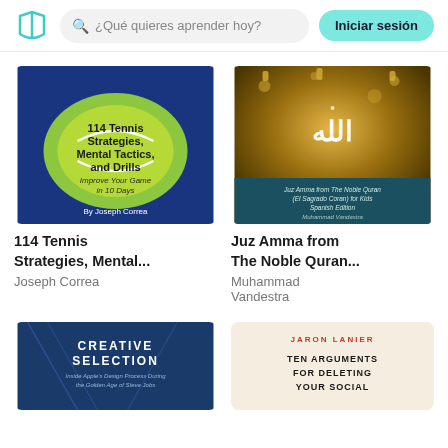¿Qué quieres aprender hoy? Iniciar sesión
[Figure (illustration): Book cover: 114 Tennis Strategies, Mental Tactics, and Drills - Improve Your Game in 10 Days by Joseph Correa. Green tennis ball on blue background.]
114 Tennis Strategies, Mental...
Joseph Correa
[Figure (illustration): Book cover: Juz Amma from The Noble Quran (El Sagrado Coran) for Kids Spanish Edition by Muhammad Vandestra. Arabic calligraphy on golden bokeh background with lanterns.]
Juz Amma from The Noble Quran...
Muhammad Vandestra
[Figure (illustration): Book cover: Creative Selection - Inside Apple's Design Process During the Golden Age of Steve Jobs. Dark blue background with geometric design elements.]
[Figure (illustration): Book cover: Ten Arguments for Deleting Your Social by Jaron Lanier. Cream/beige background with red and black text.]